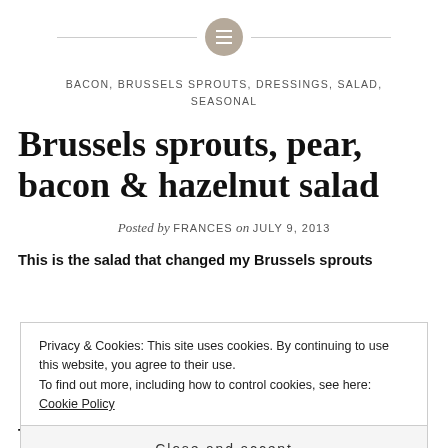BACON, BRUSSELS SPROUTS, DRESSINGS, SALAD, SEASONAL
Brussels sprouts, pear, bacon & hazelnut salad
Posted by FRANCES on JULY 9, 2013
This is the salad that changed my Brussels sprouts
Privacy & Cookies: This site uses cookies. By continuing to use this website, you agree to their use.
To find out more, including how to control cookies, see here: Cookie Policy

Close and accept
This salad is a great quick weekday dinner but it's also